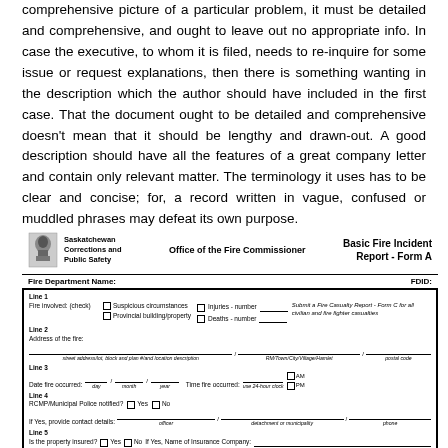comprehensive picture of a particular problem, it must be detailed and comprehensive, and ought to leave out no appropriate info. In case the executive, to whom it is filed, needs to re-inquire for some issue or request explanations, then there is something wanting in the description which the author should have included in the first case. That the document ought to be detailed and comprehensive doesn't mean that it should be lengthy and drawn-out. A good description should have all the features of a great company letter and contain only relevant matter. The terminology it uses has to be clear and concise; for, a record written in vague, confused or muddled phrases may defeat its own purpose.
[Figure (form): Saskatchewan Corrections and Public Safety - Office of the Fire Commissioner - Basic Fire Incident Report Form A. Contains fields for Fire Department Name, FDID, fire details including fire involved checkboxes, address, date/time, RCMP notification, insurance information, estimated value/damage, and owner information.]